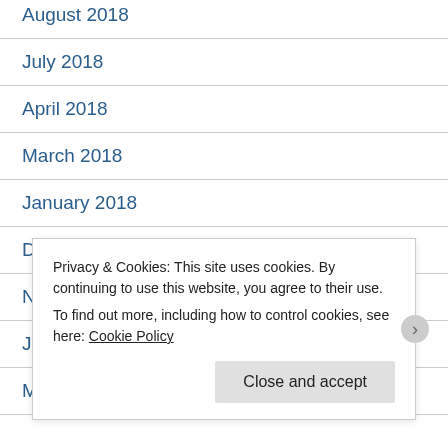August 2018
July 2018
April 2018
March 2018
January 2018
December 2017
November 2017
June 2017
May 2017
Privacy & Cookies: This site uses cookies. By continuing to use this website, you agree to their use.
To find out more, including how to control cookies, see here: Cookie Policy
Close and accept